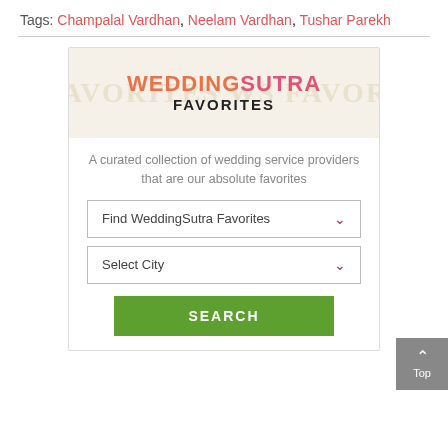Tags: Champalal Vardhan, Neelam Vardhan, Tushar Parekh
[Figure (screenshot): WeddingSutra Favorites widget with banner logo showing WEDDING in orange and SUTRA in pink, FAVORITES in black. Below are a curated collection text, Find WeddingSutra Favorites dropdown, Select City dropdown, and a green SEARCH button.]
A curated collection of wedding service providers that are our absolute favorites
Find WeddingSutra Favorites
Select City
SEARCH